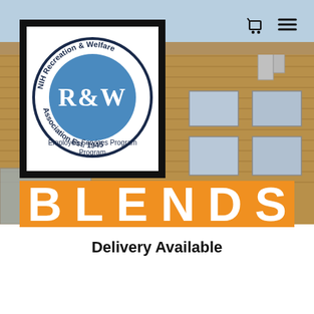[Figure (photo): NIH Recreation & Welfare Association logo sign mounted on a brick building exterior. The logo features a circular blue badge with R&W text and the words 'NIH Recreation & Welfare Association Est. 1945' around the circle, 'Employee Services Program' below, all on a white background with a black border.]
BLENDS
Delivery Available